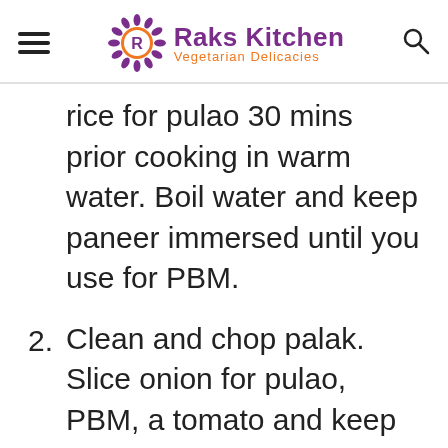Raks Kitchen Vegetarian Delicacies
rice for pulao 30 mins prior cooking in warm water. Boil water and keep paneer immersed until you use for PBM.
2. Clean and chop palak. Slice onion for pulao, PBM, a tomato and keep other ingredients ready.